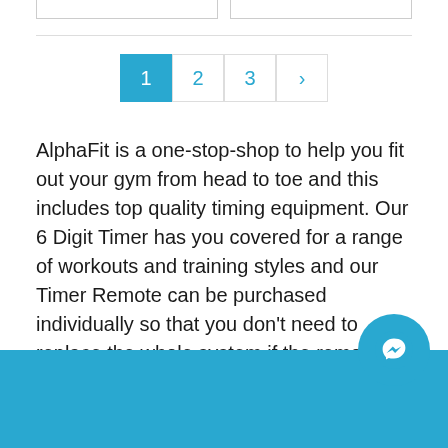[Figure (screenshot): Top portion showing two card stubs (product cards cut off at top)]
[Figure (infographic): Pagination control with pages 1 (active/highlighted in blue), 2, 3, and a right arrow chevron]
AlphaFit is a one-stop-shop to help you fit out your gym from head to toe and this includes top quality timing equipment. Our 6 Digit Timer has you covered for a range of workouts and training styles and our Timer Remote can be purchased individually so that you don't need to replace the whole system if the remote goes missing.
Footer bar with Messenger chat icon